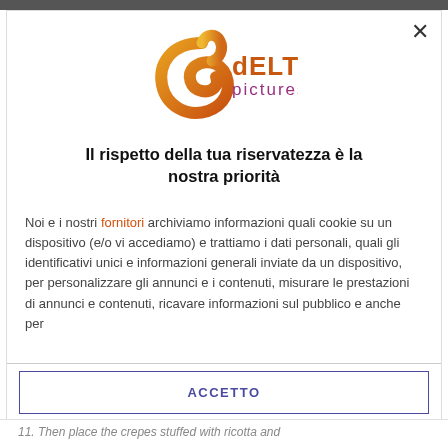[Figure (logo): Delta Pictures logo — orange stylized delta symbol with 'dELTA pictures' text in orange/purple]
Il rispetto della tua riservatezza è la nostra priorità
Noi e i nostri fornitori archiviamo informazioni quali cookie su un dispositivo (e/o vi accediamo) e trattiamo i dati personali, quali gli identificativi unici e informazioni generali inviate da un dispositivo, per personalizzare gli annunci e i contenuti, misurare le prestazioni di annunci e contenuti, ricavare informazioni sul pubblico e anche per
ACCETTO
PIÙ OPZIONI
11. Then place the crepes stuffed with ricotta and